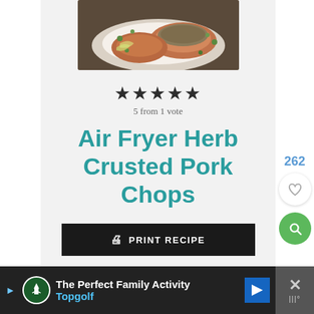[Figure (photo): A plate of herb-crusted pork chops with vegetables and peas]
★★★★★
5 from 1 vote
Air Fryer Herb Crusted Pork Chops
🖨 PRINT RECIPE
262
[Figure (illustration): Heart/like button (white circle)]
[Figure (illustration): Search button (green circle)]
The Perfect Family Activity
Topgolf